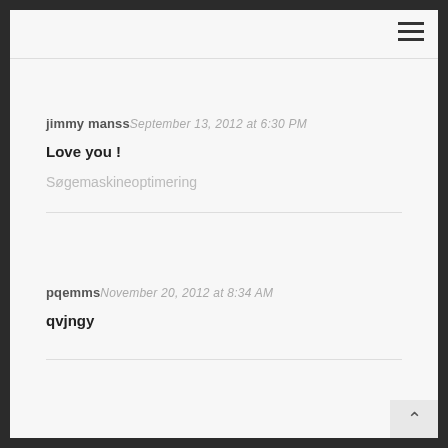jimmy manss — September 13, 2012 at 6:30 PM
Love you !
Søgemaskineoptimering
pqemms — November 20, 2012 at 8:34 AM
qvjngy